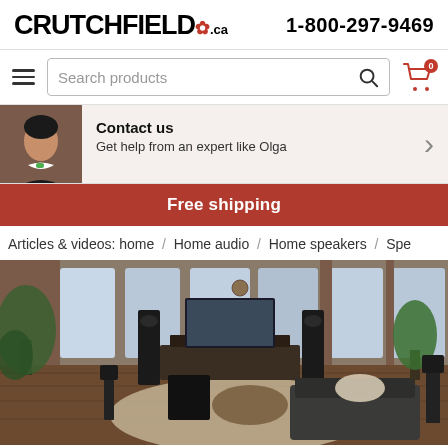CRUTCHFIELD.ca  1-800-297-9469
Search products
[Figure (photo): Contact us banner with advisor photo of Olga]
Contact us
Get help from an expert like Olga
Free shipping
Articles & videos: home / Home audio / Home speakers / Spe
[Figure (photo): Home audio speaker setup in a modern loft living room with floor-standing speakers, bookshelf speakers, subwoofer, TV on stand, couch, and plants]